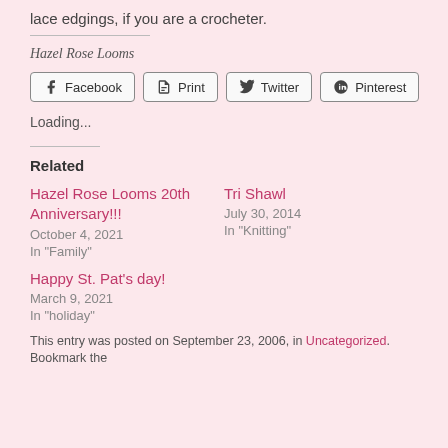lace edgings, if you are a crocheter.
Hazel Rose Looms
Facebook  Print  Twitter  Pinterest
Loading...
Related
Hazel Rose Looms 20th Anniversary!!!
October 4, 2021
In "Family"
Tri Shawl
July 30, 2014
In "Knitting"
Happy St. Pat's day!
March 9, 2021
In "holiday"
This entry was posted on September 23, 2006, in Uncategorized. Bookmark the